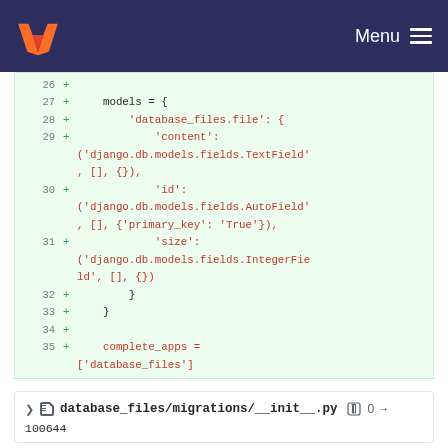Menu
[Figure (screenshot): GitLab diff view showing lines 26-35 of a Python migration file. Lines show a models dictionary with database_files.file containing content (TextField), id (AutoField with primary_key True), and size (IntegerField), plus complete_apps = ['database_files'].]
database_files/migrations/__init__.py  0 →
100644